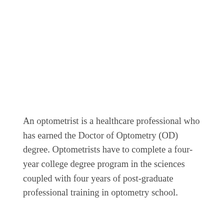An optometrist is a healthcare professional who has earned the Doctor of Optometry (OD) degree. Optometrists have to complete a four-year college degree program in the sciences coupled with four years of post-graduate professional training in optometry school.